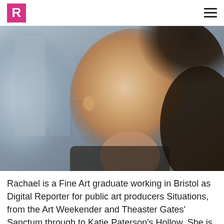R [logo] [hamburger menu]
[Figure (photo): Close-up portrait photograph of a young woman with dark curly hair, looking upward and to the right, photographed against an urban background visible through a window. The image has a cool, cinematic tone.]
Rachael is a Fine Art graduate working in Bristol as Digital Reporter for public art producers Situations, from the Art Weekender and Theaster Gates' Sanctum through to Katie Paterson's Hollow. She is also an artist